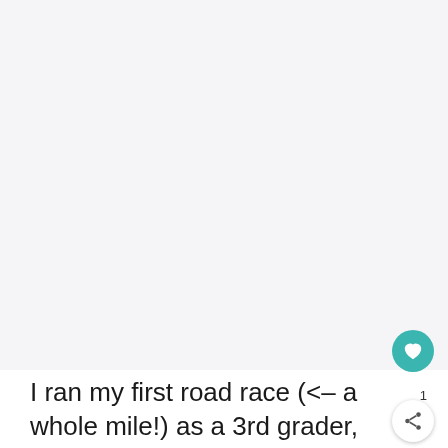[Figure (photo): Large blank/white image placeholder area occupying the upper portion of the page]
I ran my first road race (<– a whole mile!) as a 3rd grader, complete with a carb-loading pasta dinner the night